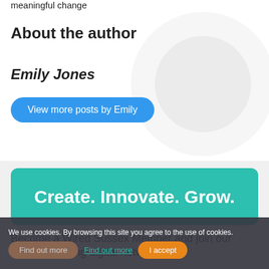meaningful change
About the author
Emily Jones
View more posts by Emily
[Figure (illustration): Teal rounded banner with bold white text reading: Create. Innovate. Grow.]
Become a Wired Sussex Member and join our vibrant inspiring digital network.
We use cookies. By browsing this site you agree to the use of cookies.
Find out more Find out more I accept